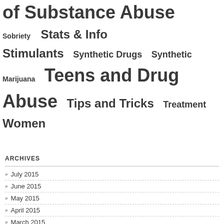of Substance Abuse  Sobriety  Stats & Info  Stimulants  Synthetic Drugs  Synthetic Marijuana  Teens and Drug Abuse  Tips and Tricks  Treatment  Women
ARCHIVES
July 2015
June 2015
May 2015
April 2015
March 2015